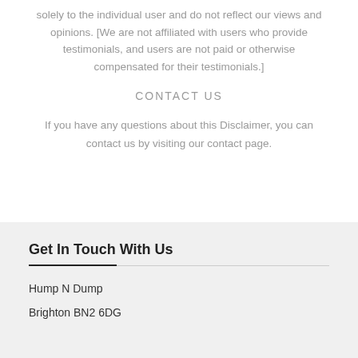solely to the individual user and do not reflect our views and opinions. [We are not affiliated with users who provide testimonials, and users are not paid or otherwise compensated for their testimonials.]
CONTACT US
If you have any questions about this Disclaimer, you can contact us by visiting our contact page.
Get In Touch With Us
Hump N Dump
Brighton BN2 6DG